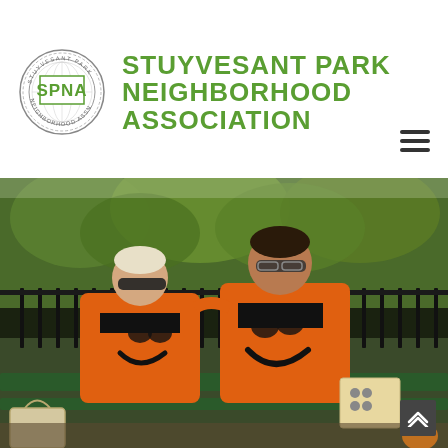STUYVESANT PARK NEIGHBORHOOD ASSOCIATION
[Figure (photo): Two people standing outdoors in a park, both wearing matching orange jack-o-lantern Halloween t-shirts over black long-sleeve shirts. They are smiling and posing in front of a green metal bench and iron fence, with trees in the background. There is a tote bag and other items on the bench.]